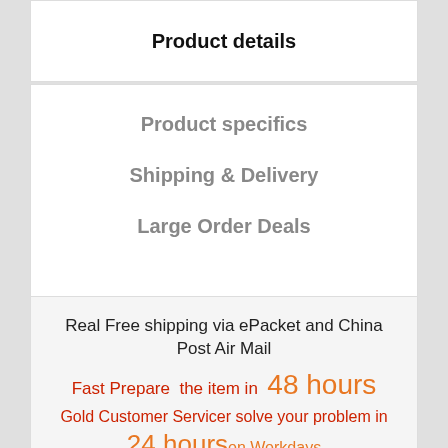Product details
Product specifics
Shipping & Delivery
Large Order Deals
Real Free shipping via ePacket and China Post Air Mail
Fast Prepare  the item in  48 hours
Gold Customer Servicer solve your problem in 24 hourson Workdays